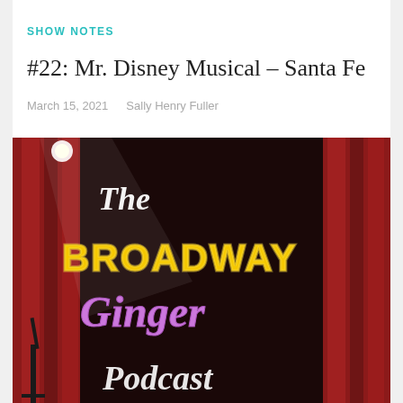SHOW NOTES
#22: Mr. Disney Musical – Santa Fe
March 15, 2021    Sally Henry Fuller
[Figure (photo): The Broadway Ginger Podcast logo on a stage with red curtains and neon-style lettering. 'The' in white script at top, 'BROADWAY' in yellow neon block letters, 'Ginger' in purple script, 'Podcast' in white script at bottom.]